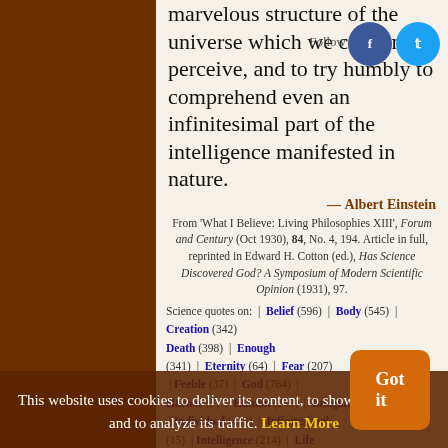marvelous structure of the universe which we can dimly perceive, and to try humbly to comprehend even an infinitesimal part of the intelligence manifested in nature.
— Albert Einstein
From 'What I Believe: Living Philosophies XIII', Forum and Century (Oct 1930), 84, No. 4, 194. Article in full, reprinted in Edward H. Cotton (ed.), Has Science Discovered God? A Symposium of Modern Scientific Opinion (1931), 97.
Science quotes on: | Belief (596) | Body (545) | Creation (342) | Death (398) | Enough (341) | Eternity (64) | Fear (207) | Feeble (37) | God (764) | Harbor (5) | Human (149) | Imagine (169) | Individual (411) | Infinitesimal (15) | Intelligence (214) | Life (1830) | Marvelous (30) |
This website uses cookies to deliver its content, to show relevant ads and to analyze its traffic. Learn More